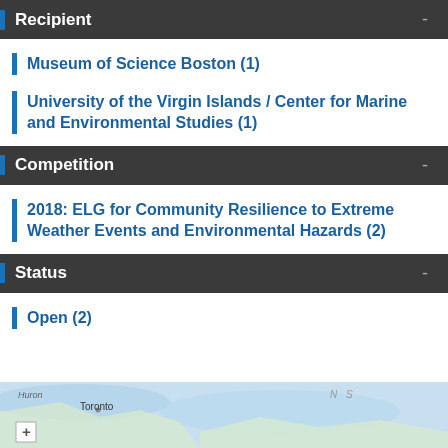Recipient
Museum of Science Boston (1)
University of the Virgin Islands / Center for Marine and Environmental Studies (1)
Competition
2018: ELG for Community Resilience to Extreme Weather Events and Environmental Hazards (2)
Status
Open (2)
[Figure (map): Partial map showing Great Lakes region including label for Huron, Toronto, and directional label INS]